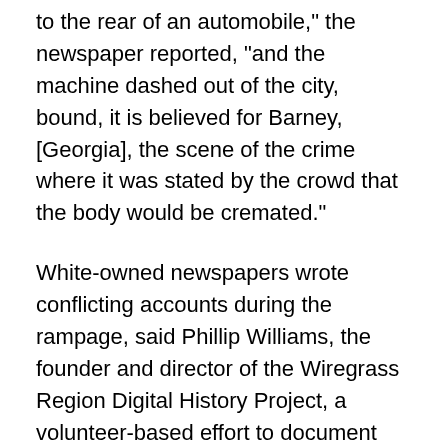to the rear of an automobile," the newspaper reported, "and the machine dashed out of the city, bound, it is believed for Barney, [Georgia], the scene of the crime where it was stated by the crowd that the body would be cremated."
White-owned newspapers wrote conflicting accounts during the rampage, said Phillip Williams, the founder and director of the Wiregrass Region Digital History Project, a volunteer-based effort to document history in South Georgia, NorthFlorida and Southeast Alabama.
Some newspapers said Johnson was hiding in swamps, while others said he'd left the